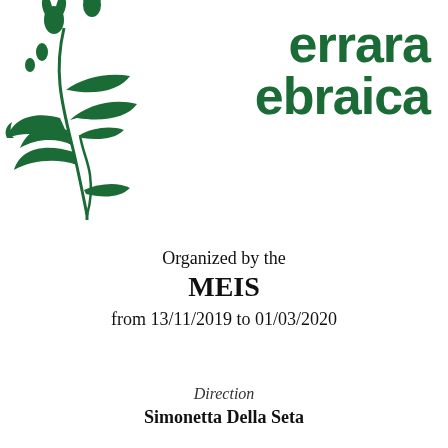[Figure (illustration): Green botanical illustration of a thistle or herb plant with leaves and flower buds, positioned at top-left corner]
errara ebraica
Organized by the
MEIS
from 13/11/2019 to 01/03/2020
Direction
Simonetta Della Seta